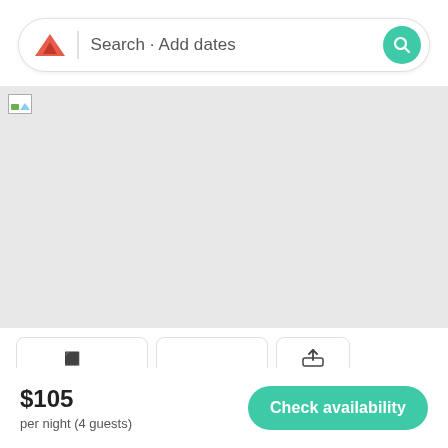[Figure (screenshot): Search bar with red triangle logo on left, 'Search · Add dates' placeholder text, and green circular search button on right]
[Figure (photo): Large placeholder image area (grey rectangle) with broken image icon in top-left corner]
[Figure (screenshot): Row of three partially visible tab/button items at bottom of photo section]
$105
per night (4 guests)
Check availability